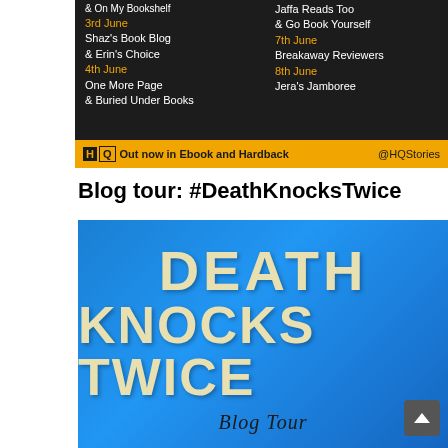[Figure (infographic): Blog tour schedule graphic on dark background showing dates (3rd June, 4th June, 7th June, 8th June) with blog names in white and dates in orange/gold, with HQ publisher logo and 'Out now in Ebook and Hardback' text in yellow bottom bar, @HQStories handle]
Blog tour: #DeathKnocksTwice
[Figure (illustration): Blue background book cover image with large distressed text reading 'DEATH KNOCKS TWICE' in cream/off-white letters and 'Blog Tour' in cursive black script at the bottom]